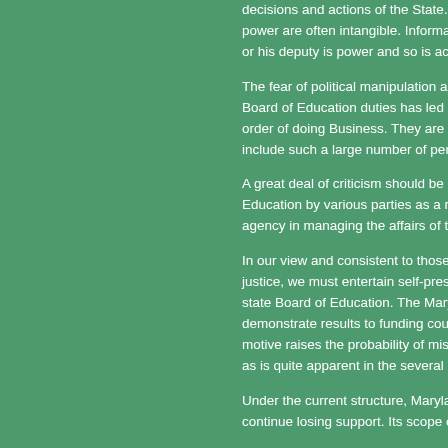decisions and actions of the State. Smith writes the mo power are often intangible. Information is power. Visibil or his deputy is power and so is access to the inner sa
The fear of political manipulation and arbitrariness in P Board of Education duties has led several Board memb order of doing Business. They are correct. The HB110 include such a large number of personal friends to inve
A great deal of criticism should be directed at the Mary Education by various parties as a result of several erro agency in managing the affairs of the county and Maryl
In our view and consistent to those expressed by many justice, we must entertain self-preservation as a key m state Board of Education. The Maryland state Board of demonstrate results to funding county Boards and vario motive raises the probability of miscarriage of justice a as is quite apparent in the several cases lately.
Under the current structure, Maryland state Board of E continue losing support. Its scope of powers and espec